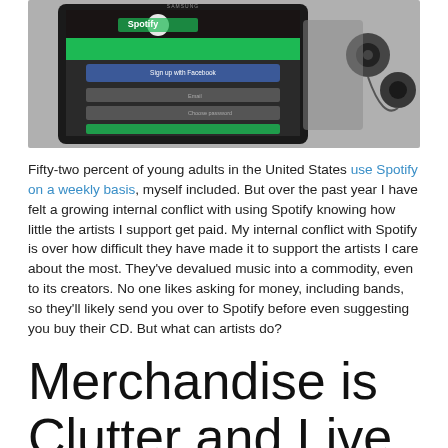[Figure (photo): Photo of a Samsung tablet showing the Spotify login screen with Facebook sign-up option, placed next to earphones on a gray surface.]
Fifty-two percent of young adults in the United States use Spotify on a weekly basis, myself included. But over the past year I have felt a growing internal conflict with using Spotify knowing how little the artists I support get paid. My internal conflict with Spotify is over how difficult they have made it to support the artists I care about the most. They've devalued music into a commodity, even to its creators. No one likes asking for money, including bands, so they'll likely send you over to Spotify before even suggesting you buy their CD. But what can artists do?
Merchandise is Clutter and Live